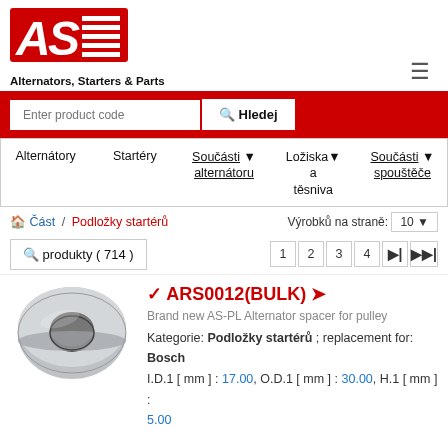[Figure (logo): AS-PL logo with red stylized letters AS and horizontal lines]
Alternators, Starters & Parts
Enter product code  Hledej
Alternátory  Startéry  Součásti alternátoru ▾  Ložiska a těsniva ▾  Součásti spouštěče ▾
🏠 Část / Podložky startérů
Výrobků na straně: 10
🔍 produkty ( 714 )
1  2  3  4  ⏭  ⏭⏭
[Figure (photo): Metal ring/spacer washer, silver-grey, viewed from slight angle showing inner and outer diameter]
✔ ARS0012(BULK) ➤
Brand new AS-PL Alternator spacer for pulley
Kategorie: Podložky startérů ; replacement for: Bosch
I.D.1 [ mm ] : 17.00, O.D.1 [ mm ] : 30.00, H.1 [ mm ] : 5.00